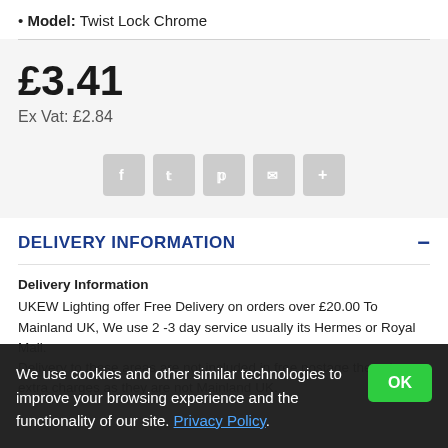Model: Twist Lock Chrome
£3.41
Ex Vat: £2.84
[Figure (other): Social sharing buttons: Facebook, Twitter, Pinterest, Email, Plus]
DELIVERY INFORMATION
Delivery Information
UKEW Lighting offer Free Delivery on orders over £20.00 To Mainland UK, We use 2 -3 day service usually its Hermes or Royal Mail.
Delivery to these areas are not included in free postage these incur extra charges as they are not Mainland UK.
We use cookies and other similar technologies to improve your browsing experience and the functionality of our site. Privacy Policy.